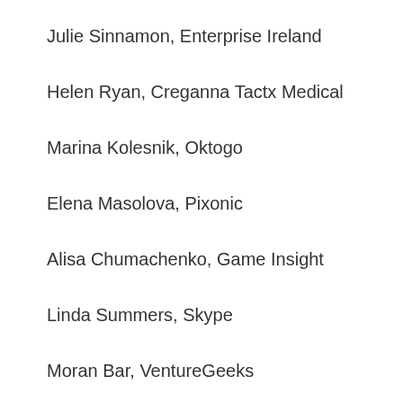Julie Sinnamon, Enterprise Ireland
Helen Ryan, Creganna Tactx Medical
Marina Kolesnik, Oktogo
Elena Masolova, Pixonic
Alisa Chumachenko, Game Insight
Linda Summers, Skype
Moran Bar, VentureGeeks
Helena Chari, TSN ICAP
Baiba Kaskina, CERT/SigmaNet